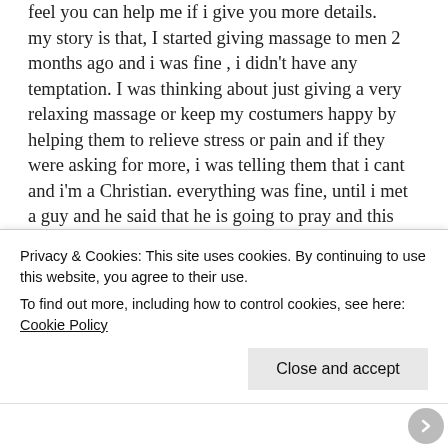feel you can help me if i give you more details.
my story is that, I started giving massage to men 2 months ago and i was fine , i didn't have any temptation. I was thinking about just giving a very relaxing massage or keep my costumers happy by helping them to relieve stress or pain and if they were asking for more, i was telling them that i cant and i'm a Christian. everything was fine, until i met a guy and he said that he is going to pray and this prayer will help both of us to be protected, honestly i didn't care much about what
Privacy & Cookies: This site uses cookies. By continuing to use this website, you agree to their use.
To find out more, including how to control cookies, see here: Cookie Policy
Close and accept